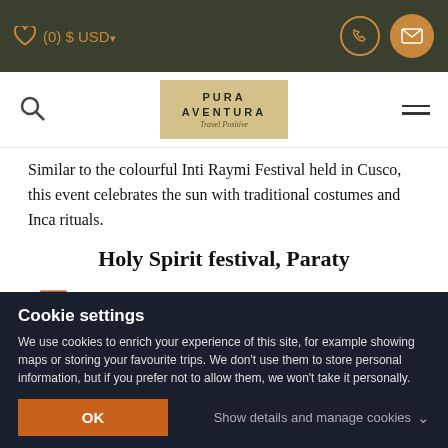♥ (0) $ USD▾  |  [phone icon]  [mail icon]
🔍  PURA AVENTURA Travel Positive  ≡
Similar to the colourful Inti Raymi Festival held in Cusco, this event celebrates the sun with traditional costumes and Inca rituals.
Holy Spirit festival, Paraty
June 18 to 19
This festivity is an authentic relic of the cultural
Cookie settings
We use cookies to enrich your experience of this site, for example showing maps or storing your favourite trips. We don't use them to store personal information, but if you prefer not to allow them, we won't take it personally.
OK  Show details and manage cookies